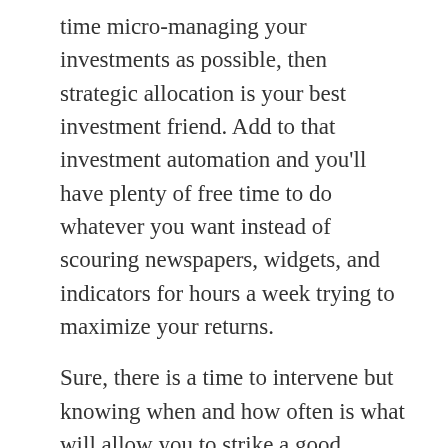time micro-managing your investments as possible, then strategic allocation is your best investment friend. Add to that investment automation and you'll have plenty of free time to do whatever you want instead of scouring newspapers, widgets, and indicators for hours a week trying to maximize your returns.
Sure, there is a time to intervene but knowing when and how often is what will allow you to strike a good balance.
You want to spend less time figuring out financial jargon
You prefer investment automation
Risk tolerance is worked into your